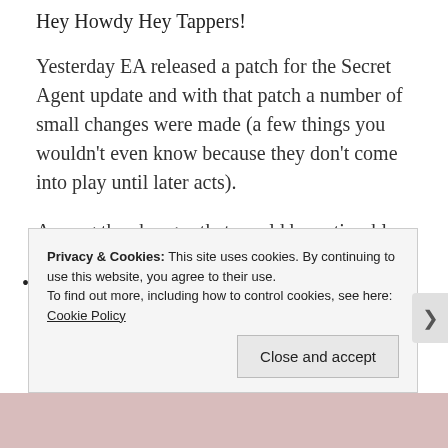Hey Howdy Hey Tappers!
Yesterday EA released a patch for the Secret Agent update and with that patch a number of small changes were made (a few things you wouldn't even know because they don't come into play until later acts).
Among the changes that would be noticeable to players during Act 1…. a bonus % was added to the Globex Balloon (.50%) and a bonus
Privacy & Cookies: This site uses cookies. By continuing to use this website, you agree to their use.
To find out more, including how to control cookies, see here: Cookie Policy
Close and accept